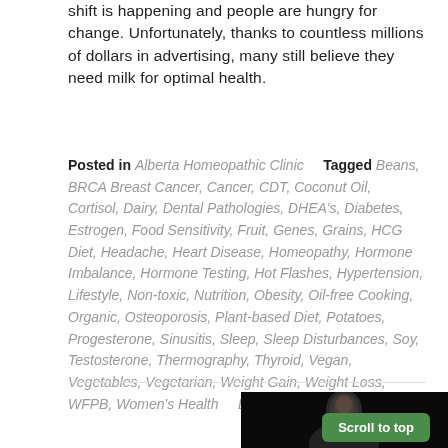shift is happening and people are hungry for change. Unfortunately, thanks to countless millions of dollars in advertising, many still believe they need milk for optimal health.
Posted in Alberta Homeopathic Clinic    Tagged Beans, BRCA Breast Cancer, Cancer, CDT, Coconut Oil, Cortisol, Dairy, Dental Pathologies, DHEA's, Diabetes, Estrogen, Food Sensitivity, Fruit, Genes, Grains, HCG Diet, Headache, Heart Disease, Homeopathy, Hormone Imbalance, Hormone Testing, Hot Flashes, Hypertension, Lifestyle, Non-toxic, Nutrition, Obesity, Oil-free Cooking, Organic, Osteoporosis, Plant-based Diet, Potatoes, Progesterone, Sinusitis, Sleep, Sleep Disturbances, Soy, Testosterone, Thermography, Thyroid, Vegan, Vegetables, Vegetarian, Weight Gain, Weight Loss, WFPB, Women's Health    Leave a comment
[Figure (photo): Portrait photo of a young man with short hair against a dark/black background, shown from shoulders up]